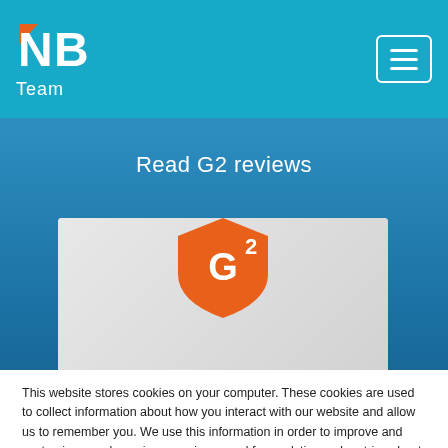[Figure (logo): NB Team logo — white NB letters with orange triangle accent on N, and 'Team' text below, on teal/cyan header bar]
[Figure (screenshot): G2 badge/logo in orange shield shape with white G and superscript 2, overlaid on a white card with grey gradient background]
Read G2 reviews
This website stores cookies on your computer. These cookies are used to collect information about how you interact with our website and allow us to remember you. We use this information in order to improve and customize your browsing experience and for analytics and metrics about our visitors both on this website and other media. To find out more about the cookies we use, see our Privacy Policy
Accept